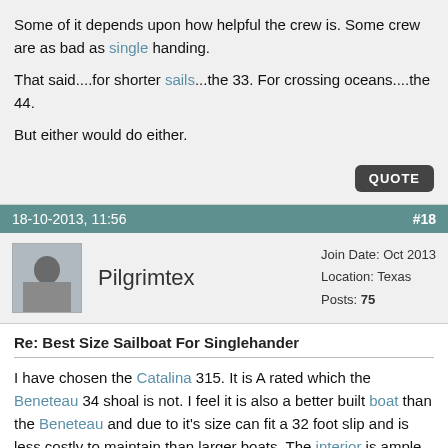Some of it depends upon how helpful the crew is. Some crew are as bad as single handing.

That said....for shorter sails...the 33. For crossing oceans....the 44.

But either would do either.
18-10-2013, 11:56    #18
Pilgrimtex  Join Date: Oct 2013  Location: Texas  Posts: 75
Re: Best Size Sailboat For Singlehander
I have chosen the Catalina 315. It is A rated which the Beneteau 34 shoal is not. I feel it is also a better built boat than the Beneteau and due to it's size can fit a 32 foot slip and is less costly to maintain than larger boats. The interior is ample for living aboard for two.
20-10-2013, 01:20